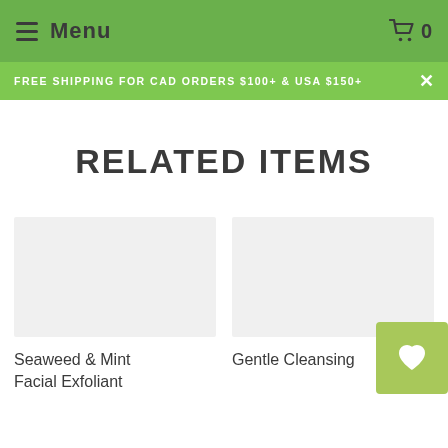Menu
FREE SHIPPING FOR CAD ORDERS $100+ & USA $150+
RELATED ITEMS
[Figure (photo): Product image placeholder for Seaweed & Mint Facial Exfoliant]
Seaweed & Mint Facial Exfoliant
[Figure (photo): Product image placeholder for Gentle Cleansing product]
Gentle Cleansing